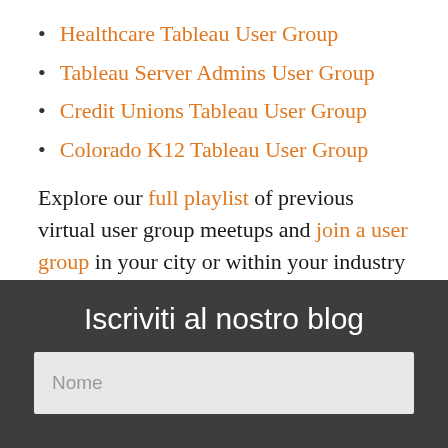Healthcare Tableau User Group
Tableau Server Admins User Group
Credit Unions Tableau User Group
Colorado K12 Tableau User Group
Explore our full playlist of previous virtual user group meetups and join a user group in your city or within your industry today!
Iscriviti al nostro blog
Nome